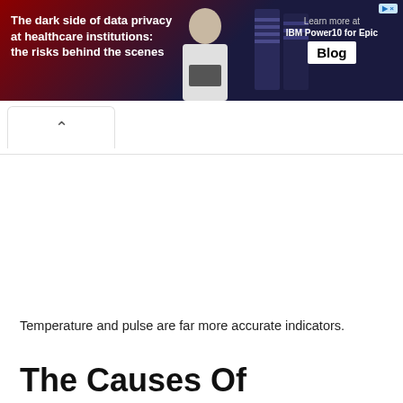[Figure (other): Advertisement banner: dark red and navy background with white bold text reading 'The dark side of data privacy at healthcare institutions: the risks behind the scenes', showing a person with a laptop and server racks, with 'Learn more at IBM Power10 for Epic' text and 'Blog' badge on right side.]
Temperature and pulse are far more accurate indicators.
The Causes Of Nodules On The Thyroid